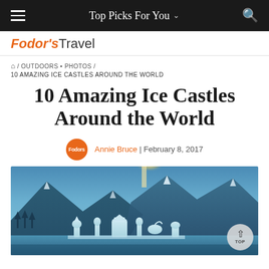Top Picks For You
[Figure (logo): Fodor's Travel logo in orange and grey]
🏠 / OUTDOORS · PHOTOS / 10 AMAZING ICE CASTLES AROUND THE WORLD
10 Amazing Ice Castles Around the World
Annie Bruce | February 8, 2017
[Figure (photo): Ice sculptures of animals and figures on a frozen lake in front of snow-capped mountains, with warm sunlight breaking through the peaks. A circular TOP button overlay appears in the lower right.]